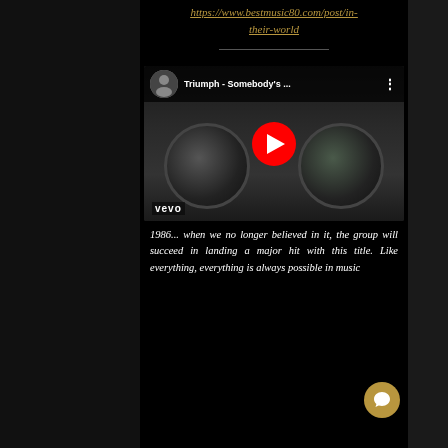https://www.bestmusic80.com/post/in-their-world
[Figure (screenshot): YouTube video thumbnail for 'Triumph - Somebody's...' showing a person looking through binoculars, with a red YouTube play button in the center and 'vevo' watermark in bottom left]
1986... when we no longer believed in it, the group will succeed in landing a major hit with this title. Like everything, everything is always possible in music